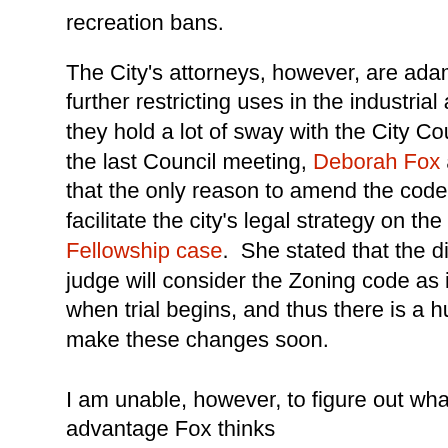recreation bans.
The City's attorneys, however, are adamant about further restricting uses in the industrial area, and they hold a lot of sway with the City Council.  At the last Council meeting, Deborah Fox admitted that the only reason to amend the code was to facilitate the city's legal strategy on the Faith Fellowship case.  She stated that the district judge will consider the Zoning code as it stands when trial begins, and thus there is a hurry to make these changes soon.
I am unable, however, to figure out what advantage Fox thinks